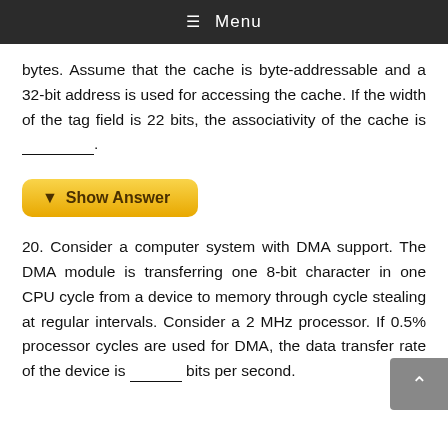≡ Menu
bytes. Assume that the cache is byte-addressable and a 32-bit address is used for accessing the cache. If the width of the tag field is 22 bits, the associativity of the cache is _________.
▼ Show Answer
20. Consider a computer system with DMA support. The DMA module is transferring one 8-bit character in one CPU cycle from a device to memory through cycle stealing at regular intervals. Consider a 2 MHz processor. If 0.5% processor cycles are used for DMA, the data transfer rate of the device is _______ bits per second.